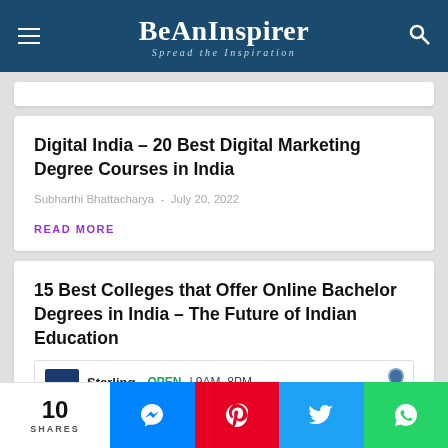BeAnInspirer — Spread the Inspiration
Digital India – 20 Best Digital Marketing Degree Courses in India
Subharthi Bhattacharya - July 20, 2022
READ MORE
15 Best Colleges that Offer Online Bachelor Degrees in India – The Future of Indian Education
Sterling OPEN 9AM–8PM